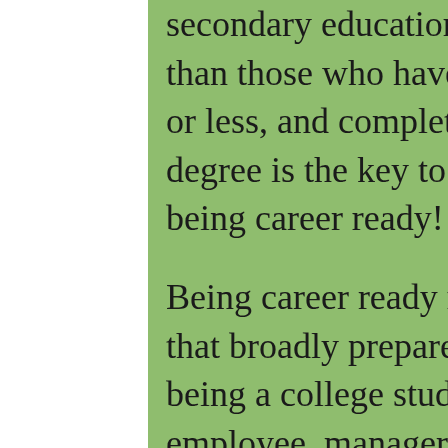secondary education earn 74 percent more than those who have a high school diploma or less, and completing your certificate or degree is the key to earning power and being career ready!
Being career ready means having skills that broadly prepare you to transition from being a college student to being an employee, manager, or entrepreneur. You will learn these skills during your time in school. Being career ready also means you can demonstrate these skills when you start a job. Your college will let you know about the marketable skills you are acquiring in your program. For more information